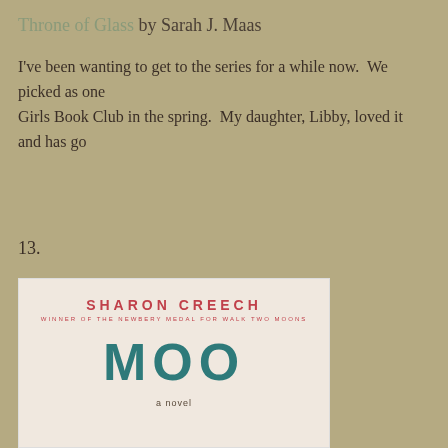Throne of Glass by Sarah J. Maas
I've been wanting to get to the series for a while now.  We picked as one Girls Book Club in the spring.  My daughter, Libby, loved it and has go
13.
[Figure (illustration): Book cover of 'Moo: a novel' by Sharon Creech. Beige/cream background with the author name in red at top, subtitle 'Winner of the Newbery Medal for Walk Two Moons' in small red text, and the large title 'MOO' in teal letters. Below the title is 'a novel' in small text.]